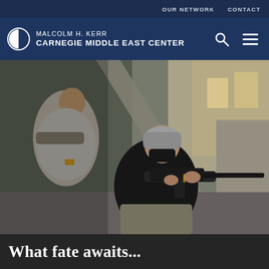OUR NETWORK   CONTACT
MALCOLM H. KERR
CARNEGIE MIDDLE EAST CENTER
[Figure (photo): Two armed fighters in an urban combat setting. The foreground figure wears a black shirt and a grey keffiyeh headscarf and aims an assault rifle (M4-style) around a concrete wall. The background figure wears a grey shirt and carries a weapon. Scene appears to be in a Middle Eastern city street.]
What fate awaits...